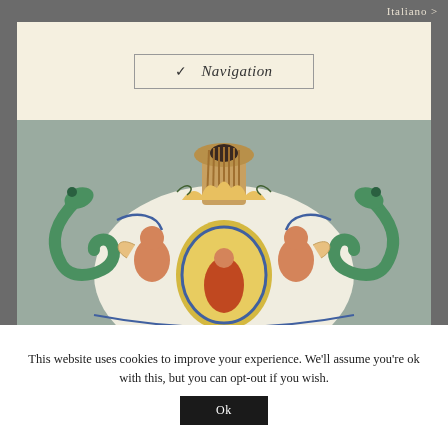Italiano >
Navigation
[Figure (photo): Close-up photograph of an ornate Italian majolica ceramic vase with dragon handles, featuring painted angels/cherubs, decorative foliage, and a central medallion showing a robed figure. The vase has elaborate polychrome decoration in shades of orange, blue, green, and yellow on a white ground.]
This website uses cookies to improve your experience. We'll assume you're ok with this, but you can opt-out if you wish.